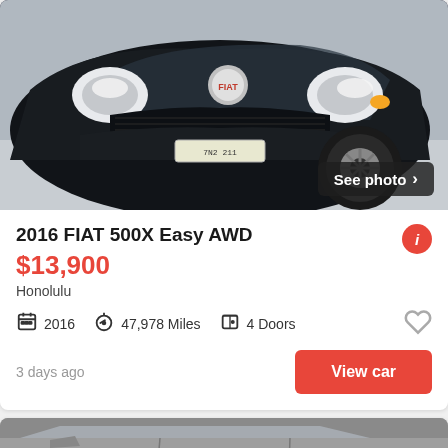[Figure (photo): Front view of a black 2016 FIAT 500X parked, showing headlights, grille, FIAT badge, and front wheel. 'See photo >' button overlay bottom-right.]
2016 FIAT 500X Easy AWD
$13,900
Honolulu
2016   47,978 Miles   4 Doors
3 days ago
View car
[Figure (photo): Partial view of a silver/grey car side, showing door handles and side mirror. 'See photo >' button overlay bottom-right.]